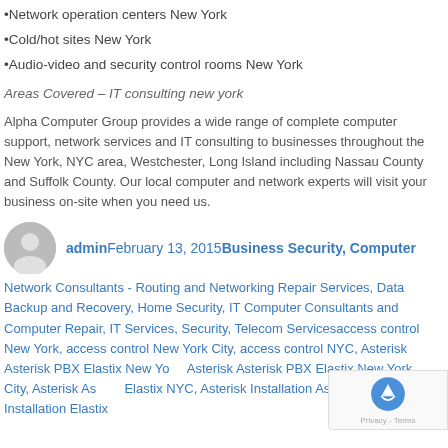•Network operation centers New York
•Cold/hot sites New York
•Audio-video and security control rooms New York
Areas Covered – IT consulting new york
Alpha Computer Group provides a wide range of complete computer support, network services and IT consulting to businesses throughout the New York, NYC area, Westchester, Long Island including Nassau County and Suffolk County. Our local computer and network experts will visit your business on-site when you need us.
adminFebruary 13, 2015Business Security, Computer Network Consultants - Routing and Networking Repair Services, Data Backup and Recovery, Home Security, IT Computer Consultants and Computer Repair, IT Services, Security, Telecom Servicesaccess control New York, access control New York City, access control NYC, Asterisk Asterisk PBX Elastix New York, Asterisk Asterisk PBX Elastix New York City, Asterisk Asterisk PBX Elastix NYC, Asterisk Installation Asterisk PBX Installation Elastix